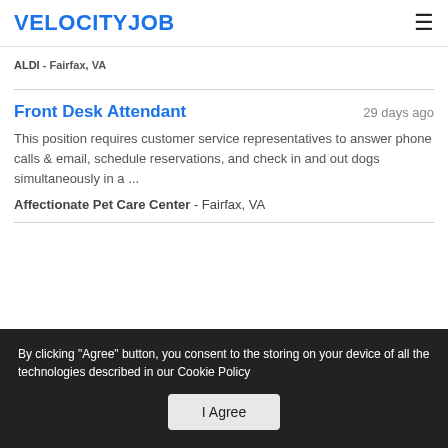VELOCITYJOB
ALDI - Fairfax, VA
Front Desk Attendant
29 days ago
This position requires customer service representatives to answer phone calls & email, schedule reservations, and check in and out dogs simultaneously in a ...
Affectionate Pet Care Center - Fairfax, VA
By clicking "Agree" button, you consent to the storing on your device of all the technologies described in our Cookie Policy